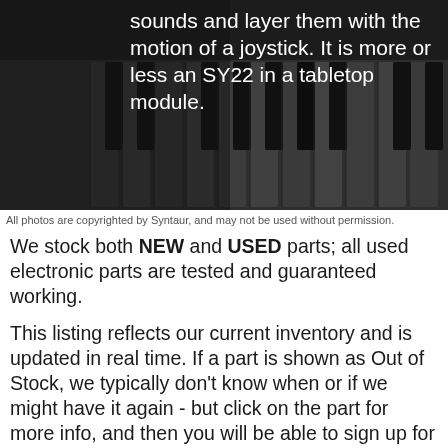[Figure (photo): Close-up photo of dark piano/synthesizer keyboard keys with white overlay text describing the SY22 tabletop module]
All photos are copyrighted by Syntaur, and may not be used without permission.
We stock both NEW and USED parts; all used electronic parts are tested and guaranteed working.
This listing reflects our current inventory and is updated in real time. If a part is shown as Out of Stock, we typically don't know when or if we might have it again - but click on the part for more info, and then you will be able to sign up for an alert when we do have it available again. By including out of stock parts in our listings, we hope to offer customers a more complete and useful resource.
We cannot diagnose repair issues by phone or email. For technical questions, we suggest posting on our Forums, where our techs - as well as other users - can